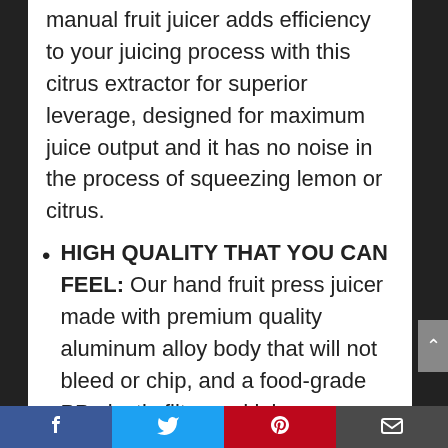manual fruit juicer adds efficiency to your juicing process with this citrus extractor for superior leverage, designed for maximum juice output and it has no noise in the process of squeezing lemon or citrus.
HIGH QUALITY THAT YOU CAN FEEL: Our hand fruit press juicer made with premium quality aluminum alloy body that will not bleed or chip, and a food-grade PP plastic filter and juicer reservoir will not allow any unsafe thing to mess with your juice.
Social share bar: Facebook, Twitter, Pinterest, Email